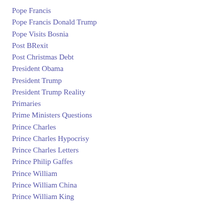Pope Francis
Pope Francis Donald Trump
Pope Visits Bosnia
Post BRexit
Post Christmas Debt
President Obama
President Trump
President Trump Reality
Primaries
Prime Ministers Questions
Prince Charles
Prince Charles Hypocrisy
Prince Charles Letters
Prince Philip Gaffes
Prince William
Prince William China
Prince William King